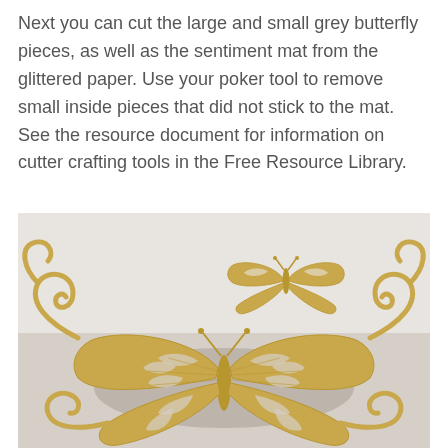Next you can cut the large and small grey butterfly pieces, as well as the sentiment mat from the glittered paper. Use your poker tool to remove small inside pieces that did not stick to the mat. See the resource document for information on cutter crafting tools in the Free Resource Library.
[Figure (photo): Photo of gold glittered butterfly die cuts on a white/grey background. A large intricate butterfly with swirling filigree wings is centered, and a smaller butterfly is positioned above and to the right.]